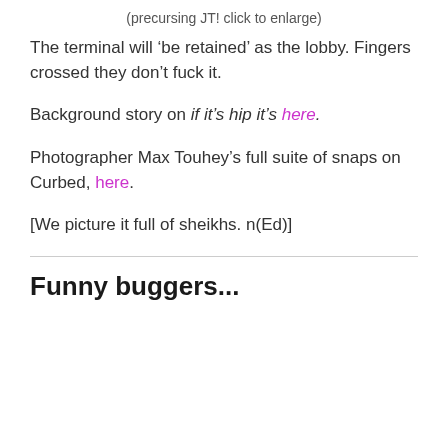(precursing JT! click to enlarge)
The terminal will ‘be retained’ as the lobby. Fingers crossed they don’t fuck it.
Background story on if it’s hip it’s here.
Photographer Max Touhey’s full suite of snaps on Curbed, here.
[We picture it full of sheikhs. n(Ed)]
Funny buggers...